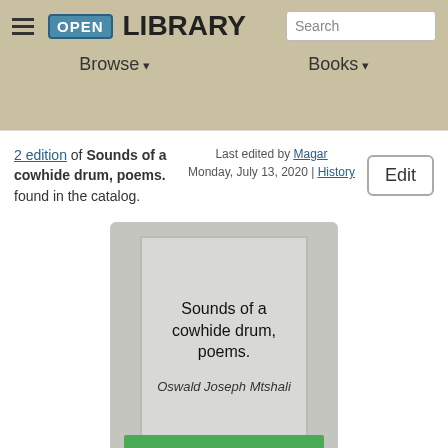Open Library — Browse ▾  Books ▾  Search
2 edition of Sounds of a cowhide drum, poems. found in the catalog.
Last edited by Magar
Monday, July 13, 2020 | History
Edit
[Figure (illustration): Book cover placeholder showing title 'Sounds of a cowhide drum, poems.' and author 'Oswald Joseph Mtshali' on a grey background]
Sounds of a cowhide drum, poems.
Oswald Joseph Mtshali